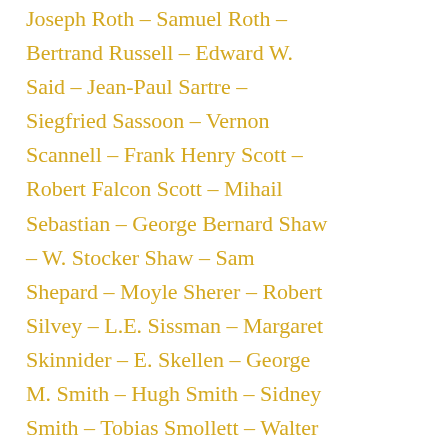Joseph Roth – Samuel Roth – Bertrand Russell – Edward W. Said – Jean-Paul Sartre – Siegfried Sassoon – Vernon Scannell – Frank Henry Scott – Robert Falcon Scott – Mihail Sebastian – George Bernard Shaw – W. Stocker Shaw – Sam Shepard – Moyle Sherer – Robert Silvey – L.E. Sissman – Margaret Skinnider – E. Skellen – George M. Smith – Hugh Smith – Sidney Smith – Tobias Smollett – Walter Southgate – Fred Spurgin – G.W. Steevens – Robert Louis Stevenson – Rod Stewart – Gwendoline Strong – Winifred Sturgeon – Gloria Swanson